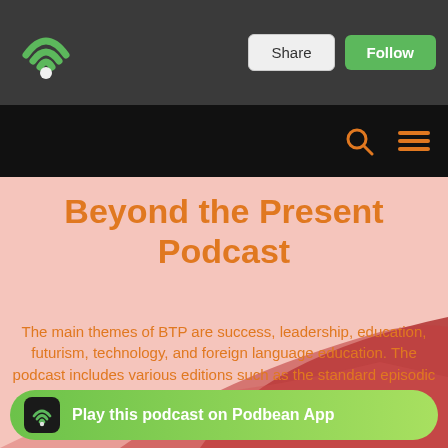Beyond the Present Podcast - Podbean
[Figure (logo): Podbean WiFi/podcast signal logo in green on dark gray navigation bar with Share and Follow buttons]
Beyond the Present Podcast
The main themes of BTP are success, leadership, education, futurism, technology, and foreign language education. The podcast includes various editions such as the standard episodic edition, Let's Talk edition, the Solo Round, the Po...
[Figure (infographic): Play this podcast on Podbean App banner at the bottom of the page with green background and Podbean logo icon]